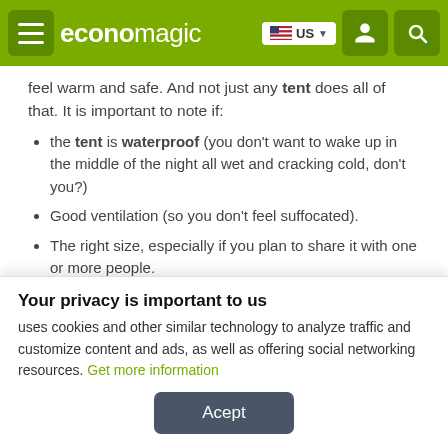economagic — US
feel warm and safe. And not just any tent does all of that. It is important to note if:
the tent is waterproof (you don't want to wake up in the middle of the night all wet and cracking cold, don't you?)
Good ventilation (so you don't feel suffocated).
The right size, especially if you plan to share it with one or more people.
My suggestion is the Nautika Cherokee Tent!
Your privacy is important to us
uses cookies and other similar technology to analyze traffic and customize content and ads, as well as offering social networking resources. Get more information
Acept